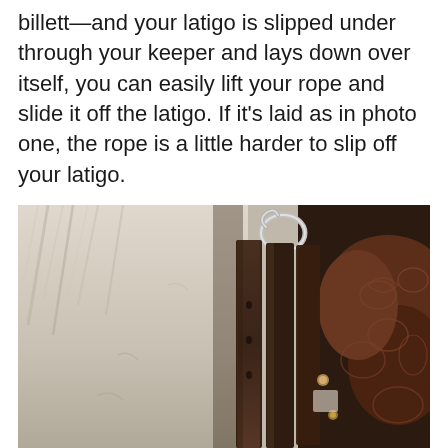billett—and your latigo is slipped under through your keeper and lays down over itself, you can easily lift your rope and slide it off the latigo. If it's laid as in photo one, the rope is a little harder to slip off your latigo.
[Figure (photo): Close-up photograph of a western saddle on a white horse, showing dark brown leather straps (latigo and billett) hanging from a metal ring, with tooled leather saddle visible on the right side.]